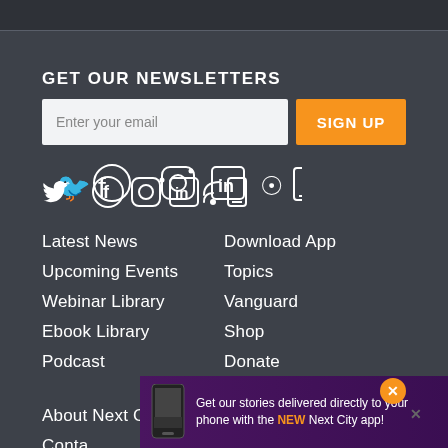GET OUR NEWSLETTERS
Enter your email | SIGN UP
[Figure (illustration): Social media icons: Twitter, Facebook, Instagram, LinkedIn, RSS, Mobile]
Latest News
Upcoming Events
Webinar Library
Ebook Library
Podcast
Download App
Topics
Vanguard
Shop
Donate
About Next City
Login
Conta[ct]
Adver[tise]
Get our stories delivered directly to your phone with the NEW Next City app!